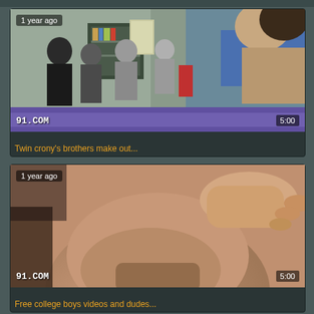[Figure (screenshot): Video thumbnail showing group of people in a room, labeled '1 year ago', watermark '91.COM', duration '5:00']
Twin crony's brothers make out...
[Figure (screenshot): Video thumbnail showing close-up skin content, labeled '1 year ago', watermark '91.COM', duration '5:00']
Free college boys videos and dudes...